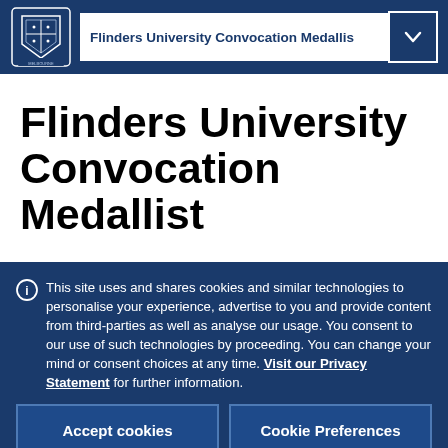Flinders University Convocation Medallis
Flinders University Convocation Medallist
This site uses and shares cookies and similar technologies to personalise your experience, advertise to you and provide content from third-parties as well as analyse our usage. You consent to our use of such technologies by proceeding. You can change your mind or consent choices at any time. Visit our Privacy Statement for further information.
Accept cookies
Cookie Preferences